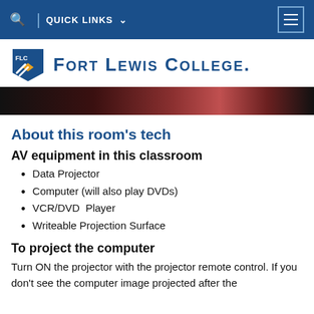🔍  QUICK LINKS ∨  [menu]
[Figure (logo): Fort Lewis College logo with FLC shield and college name in blue]
[Figure (photo): Partial view of a classroom with colored chairs in dark lighting]
About this room's tech
AV equipment in this classroom
Data Projector
Computer (will also play DVDs)
VCR/DVD  Player
Writeable Projection Surface
To project the computer
Turn ON the projector with the projector remote control. If you don't see the computer image projected after the